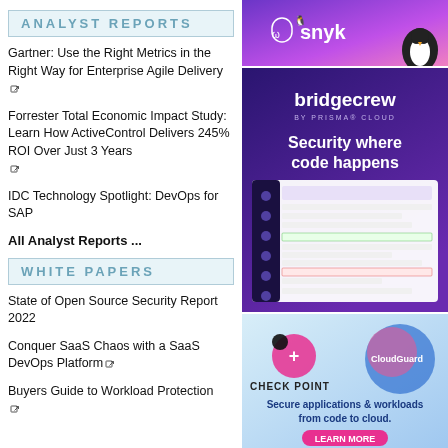ANALYST REPORTS
Gartner: Use the Right Metrics in the Right Way for Enterprise Agile Delivery
Forrester Total Economic Impact Study: Learn How ActiveControl Delivers 245% ROI Over Just 3 Years
IDC Technology Spotlight: DevOps for SAP
All Analyst Reports ...
WHITE PAPERS
State of Open Source Security Report 2022
Conquer SaaS Chaos with a SaaS DevOps Platform
Buyers Guide to Workload Protection
[Figure (advertisement): Snyk advertisement with purple/pink gradient background and penguin logo]
[Figure (advertisement): Bridgecrew by Prisma Cloud advertisement - Security where code happens]
[Figure (advertisement): Check Point CloudGuard - Secure applications and workloads from code to cloud]